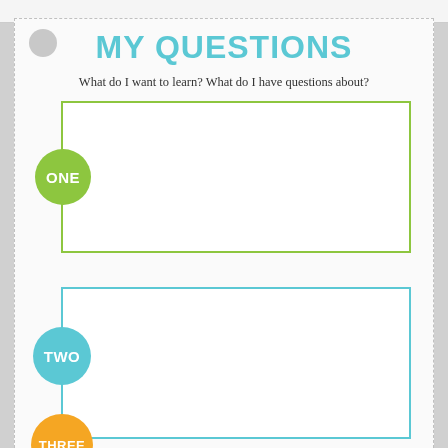MY QUESTIONS
What do I want to learn? What do I have questions about?
ONE — blank answer box
TWO — blank answer box
THREE — blank answer box (partially visible)